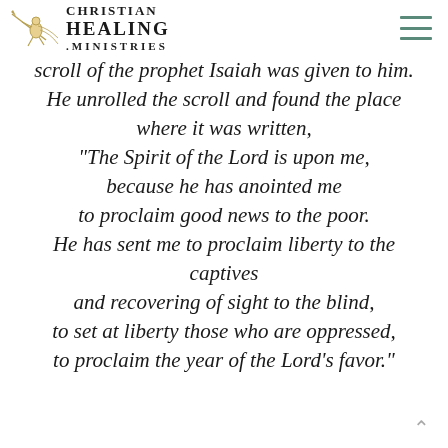Christian Healing Ministries
scroll of the prophet Isaiah was given to him. He unrolled the scroll and found the place where it was written, “The Spirit of the Lord is upon me, because he has anointed me to proclaim good news to the poor. He has sent me to proclaim liberty to the captives and recovering of sight to the blind, to set at liberty those who are oppressed, to proclaim the year of the Lord’s favor.”